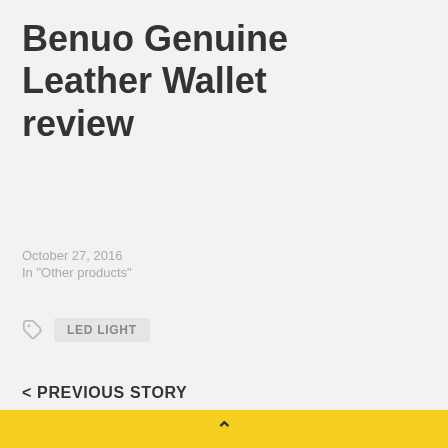Benuo Genuine Leather Wallet review
October 27, 2016
In "Other products"
LED LIGHT
< PREVIOUS STORY
[Figure (photo): Thumbnail image strip at bottom, partially visible]
^